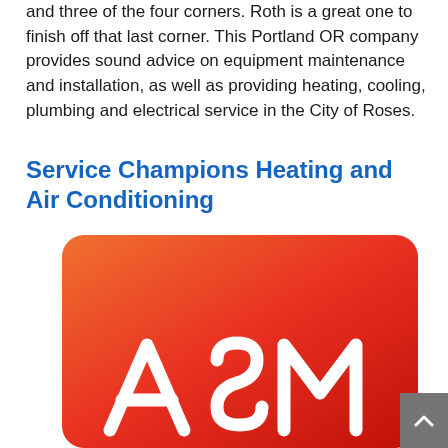and three of the four corners. Roth is a great one to finish off that last corner. This Portland OR company provides sound advice on equipment maintenance and installation, as well as providing heating, cooling, plumbing and electrical service in the City of Roses.
Service Champions Heating and Air Conditioning
[Figure (logo): ASM logo on an orange-red rounded rectangle background with white ASM lettering]